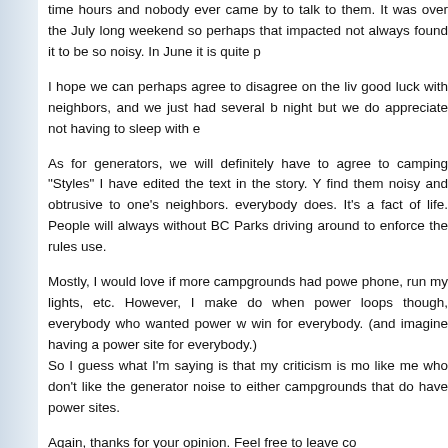time hours and nobody ever came by to talk to them. It was over the July long weekend so perhaps that impacted things. I have not always found it to be so noisy. In June it is quite p
I hope we can perhaps agree to disagree on the liv good luck with neighbors, and we just had several b night but we do appreciate not having to sleep with e
As for generators, we will definitely have to agree to camping "Styles" I have edited the text in the story. Y find them noisy and obtrusive to one's neighbors. everybody does. It's a fact of life. People will always without BC Parks driving around to enforce the rules use.
Mostly, I would love if more campgrounds had powe phone, run my lights, etc. However, I make do when power loops though, everybody who wanted power w win for everybody. (and imagine having a power site for everybody.)
So I guess what I'm saying is that my criticism is mo like me who don't like the generator noise to either campgrounds that do have power sites.
Again, thanks for your opinion. Feel free to leave co